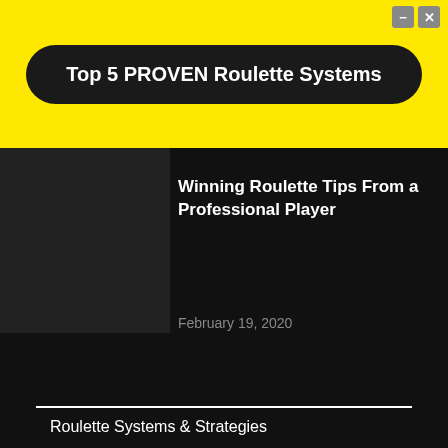Top 5 PROVEN Roulette Systems
Winning Roulette Tips From a Professional Player
February 19, 2020
See All Articles
POPULAR CATEGORIES
Roulette Systems & Strategies
Roulette Computers
Featured
How To Play Roulette
Roulette Bets, Odds & Payouts